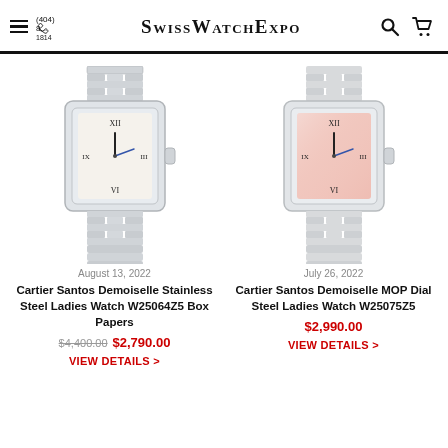SwissWatchExpo — (404) 8... 1814
[Figure (photo): Cartier Santos Demoiselle Stainless Steel Ladies Watch with white dial and stainless steel bracelet]
August 13, 2022
Cartier Santos Demoiselle Stainless Steel Ladies Watch W25064Z5 Box Papers
$4,400.00 $2,790.00
VIEW DETAILS >
[Figure (photo): Cartier Santos Demoiselle MOP Dial Steel Ladies Watch with pink/mother-of-pearl dial and stainless steel bracelet]
July 26, 2022
Cartier Santos Demoiselle MOP Dial Steel Ladies Watch W25075Z5
$2,990.00
VIEW DETAILS >